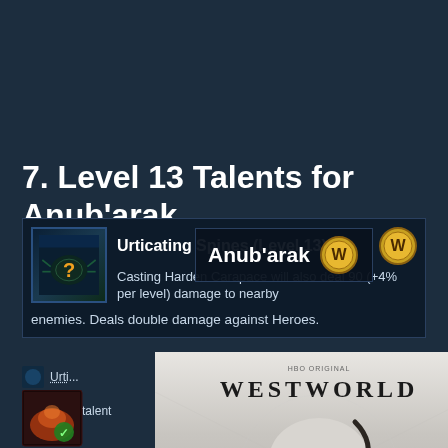7. Level 13 Talents for Anub'arak
[Figure (screenshot): Tooltip for Urticating Spines (Level 13) ability card with question mark icon and WoW icon, showing description: Casting Harden Carapace will also deal 90 (+4% per level) damage to nearby enemies. Deals double damage against Heroes. Overlaid with Anub'arak name popup.]
Urti... [ability icon] ...nt of burst d...
Har... [ability icon] ...talent counts...
[Figure (screenshot): Westworld HBO Max advertisement showing skull with robotic hand, WESTWORLD title text in large letters, right side purple panel with SEE THE BATTLE FOR THE FUTURE, HBO Max logo, sign up now button, PLANS START AT $9.99/MONTH]
[Figure (screenshot): Bottom left ability icon with green checkmark, close X icon and WoW gold coin icon at bottom right, level 6 text]